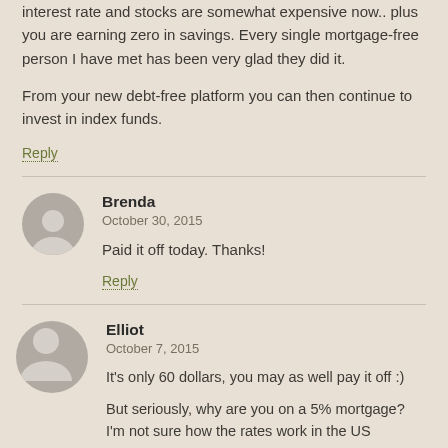interest rate and stocks are somewhat expensive now.. plus you are earning zero in savings. Every single mortgage-free person I have met has been very glad they did it.
From your new debt-free platform you can then continue to invest in index funds.
Reply
Brenda
October 30, 2015
Paid it off today. Thanks!
Reply
Elliot
October 7, 2015
It's only 60 dollars, you may as well pay it off :)
But seriously, why are you on a 5% mortgage? I'm not sure how the rates work in the US (everybody seems to get 30 year fixed) but right now in the UK you can get mortgages at around 1% (with fees it